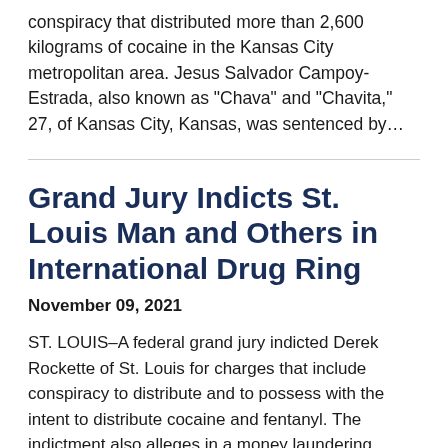conspiracy that distributed more than 2,600 kilograms of cocaine in the Kansas City metropolitan area. Jesus Salvador Campoy-Estrada, also known as “Chava” and “Chavita,” 27, of Kansas City, Kansas, was sentenced by…
Grand Jury Indicts St. Louis Man and Others in International Drug Ring
November 09, 2021
ST. LOUIS–A federal grand jury indicted Derek Rockette of St. Louis for charges that include conspiracy to distribute and to possess with the intent to distribute cocaine and fentanyl. The indictment also alleges in a money laundering conspiracy charge that Rockette, Norma Corina